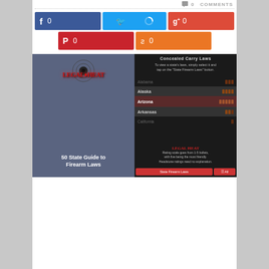0 COMMENTS
[Figure (screenshot): Social media sharing buttons row 1: Facebook (0), Twitter (loading spinner), Google+ (0)]
[Figure (screenshot): Social media sharing buttons row 2: Pinterest (0), StumbleUpon (0)]
[Figure (screenshot): Legal Heat app screenshot left panel: Legal Heat logo with 50 State Guide to Firearm Laws]
[Figure (screenshot): Legal Heat app screenshot right panel: Concealed Carry Laws list showing Alabama, Alaska, Arizona, Arkansas, California with bullet ratings]